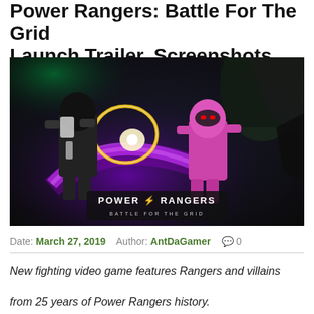Power Rangers: Battle For The Grid Launch Trailer, Screenshots And Details
[Figure (screenshot): Screenshot from Power Rangers: Battle For The Grid video game showing two Power Rangers characters fighting — a black/white ranger and a pink ranger — with purple energy effects, against a dark arena background. The game logo 'Power Rangers Battle For The Grid' is displayed at the bottom center of the image.]
Date: March 27, 2019   Author: AntDaGamer   💬 0
New fighting video game features Rangers and villains
from 25 years of Power Rangers history.